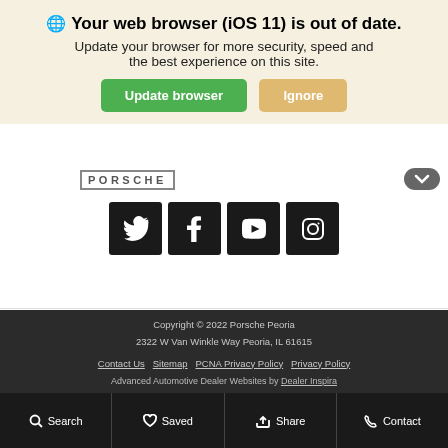🌐 Your web browser (iOS 11) is out of date.
Update your browser for more security, speed and the best experience on this site.
Update browser | Ignore
[Figure (logo): PORSCHE text logo]
[Figure (other): Social media icons: Twitter, Facebook, YouTube, Instagram]
Copyright © 2022 Porsche Peoria
2322 W Van Winkle Way Peoria, IL 61615
Contact Us  Sitemap  PCNA Privacy Policy  Privacy Policy
Advanced Automotive Dealer Websites by Dealer Inspira
🔍 Search    ♡ Saved    👍 Share    📞 Contact